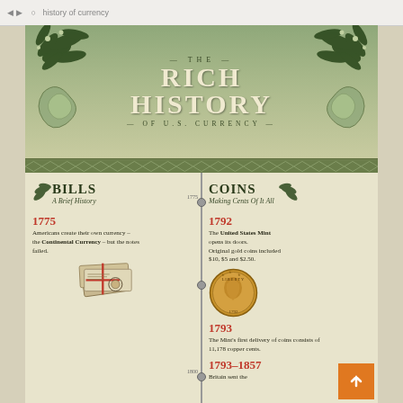[Figure (infographic): The Rich History of U.S. Currency infographic showing two columns: Bills (A Brief History) and Coins (Making Cents Of It All), with a central timeline. Bills section shows 1775: Americans create their own currency - the Continental Currency - but the notes failed. Coins section shows 1792: The United States Mint opens its doors. Original gold coins included $10, $5 and $2.50. 1793: The Mint's first delivery of coins consists of 11,178 copper cents. 1793-1857 entry partially visible.]